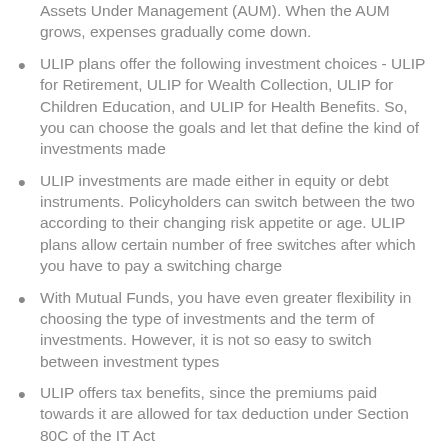Assets Under Management (AUM). When the AUM grows, expenses gradually come down.
ULIP plans offer the following investment choices - ULIP for Retirement, ULIP for Wealth Collection, ULIP for Children Education, and ULIP for Health Benefits. So, you can choose the goals and let that define the kind of investments made
ULIP investments are made either in equity or debt instruments. Policyholders can switch between the two according to their changing risk appetite or age. ULIP plans allow certain number of free switches after which you have to pay a switching charge
With Mutual Funds, you have even greater flexibility in choosing the type of investments and the term of investments. However, it is not so easy to switch between investment types
ULIP offers tax benefits, since the premiums paid towards it are allowed for tax deduction under Section 80C of the IT Act